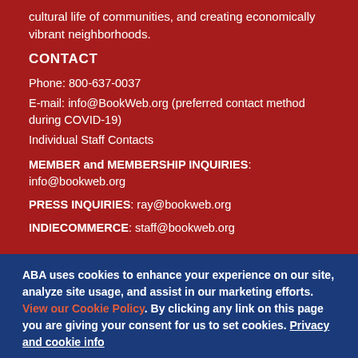cultural life of communities, and creating economically vibrant neighborhoods.
CONTACT
Phone: 800-637-0037
E-mail: info@BookWeb.org (preferred contact method during COVID-19)
Individual Staff Contacts
MEMBER and MEMBERSHIP INQUIRIES: info@bookweb.org
PRESS INQUIRIES: ray@bookweb.org
INDIECOMMERCE: staff@bookweb.org
ABA uses cookies to enhance your experience on our site, analyze site usage, and assist in our marketing efforts. View our Cookie Policy. By clicking any link on this page you are giving your consent for us to set cookies. Privacy and cookie info
Accept